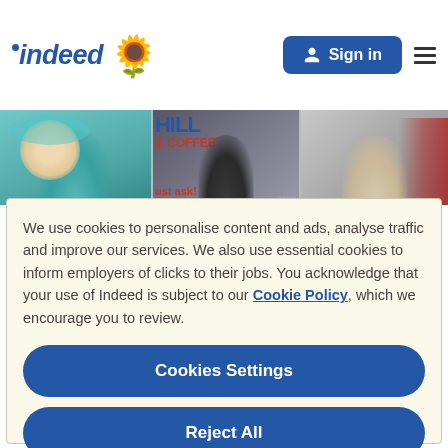indeed [sunflower icon]  Sign in  [hamburger menu]
[Figure (photo): Hero banner showing three workers: a woman with teal hair smiling, a man in a dark beanie in a store, and a woman wearing a headset. Text overlay reads '& COFFEE' and 'just ask!']
We use cookies to personalise content and ads, analyse traffic and improve our services. We also use essential cookies to inform employers of clicks to their jobs. You acknowledge that your use of Indeed is subject to our Cookie Policy, which we encourage you to review.
Cookies Settings
Reject All
Accept All Cookies